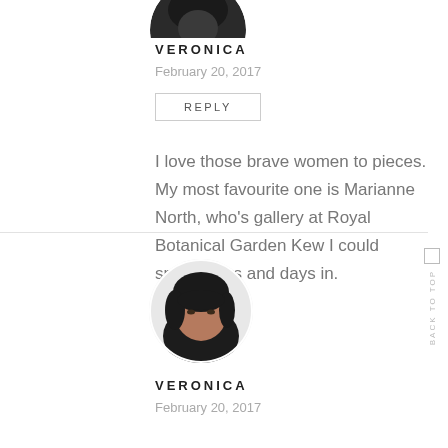[Figure (photo): Partial circular avatar photo at top, cropped circle showing dark hair/face]
VERONICA
February 20, 2017
REPLY
I love those brave women to pieces. My most favourite one is Marianne North, who's gallery at Royal Botanical Garden Kew I could spend days and days in.
[Figure (photo): Circular avatar photo of a woman with dark hair looking at camera]
VERONICA
February 20, 2017